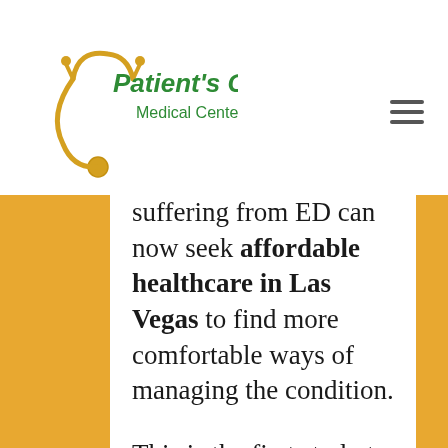[Figure (logo): Patient's Choice Medical Center logo with stethoscope graphic, green text for 'Patient's Choice' and 'Medical Center']
suffering from ED can now seek affordable healthcare in Las Vegas to find more comfortable ways of managing the condition.

This is the first study to monitor the after-effects of self-administered injections to eight years; previous studies have followed up on patients' treatment results as far as four years. The studies did
[Figure (other): Hamburger menu icon (three horizontal lines) in top right corner]